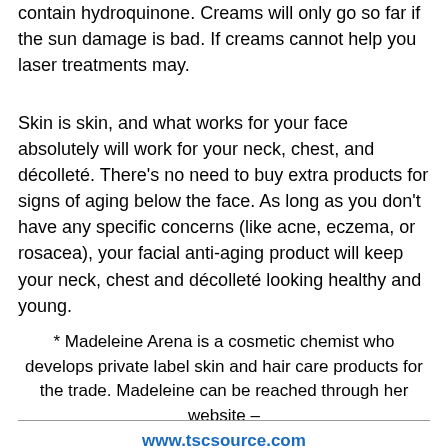contain hydroquinone. Creams will only go so far if the sun damage is bad. If creams cannot help you laser treatments may.
Skin is skin, and what works for your face absolutely will work for your neck, chest, and décolleté. There’s no need to buy extra products for signs of aging below the face. As long as you don’t have any specific concerns (like acne, eczema, or rosacea), your facial anti-aging product will keep your neck, chest and décolleté looking healthy and young.
* Madeleine Arena is a cosmetic chemist who develops private label skin and hair care products for the trade. Madeleine can be reached through her website – www.tscsource.com